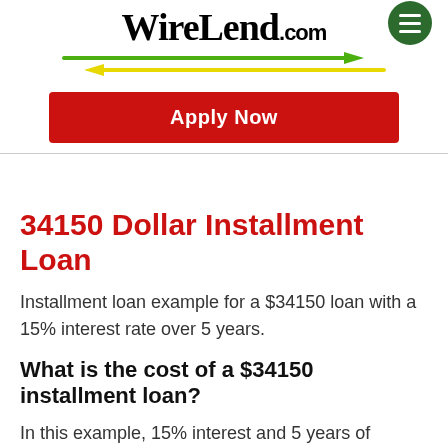WireLend.com
[Figure (logo): WireLend.com logo with two crossing arrows (green rightward arrow and yellow leftward arrow) and a green circular hamburger menu button]
Apply Now
34150 Dollar Installment Loan
Installment loan example for a $34150 loan with a 15% interest rate over 5 years.
What is the cost of a $34150 installment loan?
In this example, 15% interest and 5 years of